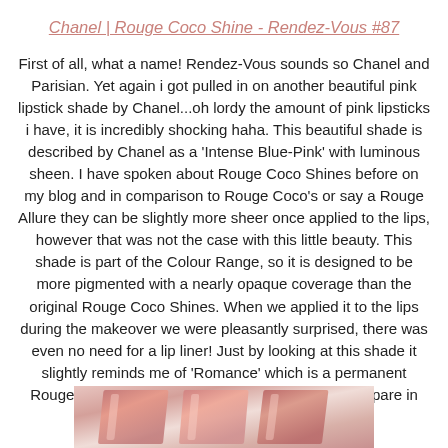Chanel | Rouge Coco Shine - Rendez-Vous #87
First of all, what a name! Rendez-Vous sounds so Chanel and Parisian. Yet again i got pulled in on another beautiful pink lipstick shade by Chanel...oh lordy the amount of pink lipsticks i have, it is incredibly shocking haha. This beautiful shade is described by Chanel as a 'Intense Blue-Pink' with luminous sheen. I have spoken about Rouge Coco Shines before on my blog and in comparison to Rouge Coco's or say a Rouge Allure they can be slightly more sheer once applied to the lips, however that was not the case with this little beauty. This shade is part of the Colour Range, so it is designed to be more pigmented with a nearly opaque coverage than the original Rouge Coco Shines. When we applied it to the lips during the makeover we were pleasantly surprised, there was even no need for a lip liner! Just by looking at this shade it slightly reminds me of 'Romance' which is a permanent Rouge Coco Shine so it might be something to compare in the future.
[Figure (photo): Close-up photo of lipstick swatches or makeup products in pink/rose tones at the bottom of the page]